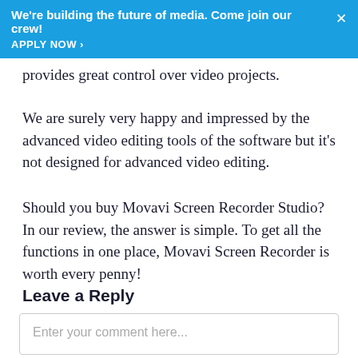We're building the future of media. Come join our crew! APPLY NOW ›
provides great control over video projects.
We are surely very happy and impressed by the advanced video editing tools of the software but it's not designed for advanced video editing.
Should you buy Movavi Screen Recorder Studio? In our review, the answer is simple. To get all the functions in one place, Movavi Screen Recorder is worth every penny!
Leave a Reply
Enter your comment here...